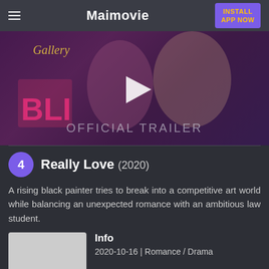Maimovie
[Figure (screenshot): Movie trailer thumbnail showing a couple in a neon-lit arcade/gallery setting with 'OFFICIAL TRAILER' text overlay and a play button]
4 Really Love (2020)
A rising black painter tries to break into a competitive art world while balancing an unexpected romance with an ambitious law student.
Info
2020-10-16 | Romance / Drama